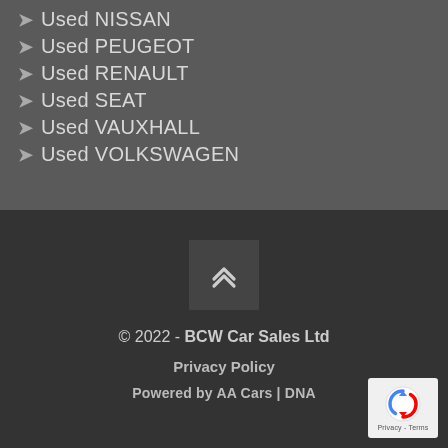Used NISSAN
Used PEUGEOT
Used RENAULT
Used SEAT
Used VAUXHALL
Used VOLKSWAGEN
[Figure (other): Scroll-to-top button with upward chevron arrows]
© 2022 - BCW Car Sales Ltd
Privacy Policy
Powered by AA Cars | DNA
[Figure (logo): reCAPTCHA badge with Privacy and Terms links]